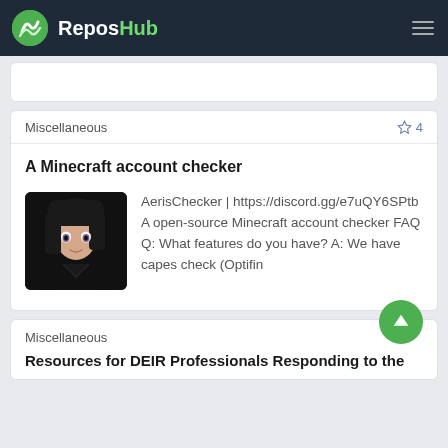ReposHub
Miscellaneous  ☆ 4
A Minecraft account checker
[Figure (illustration): Anime-style avatar thumbnail: dark-haired character with dark clothing on a dark background]
AerisChecker | https://discord.gg/e7uQY6SPtb A open-source Minecraft account checker FAQ Q: What features do you have? A: We have capes check (Optifin
Miscellaneous
Resources for DEIR Professionals Responding to the